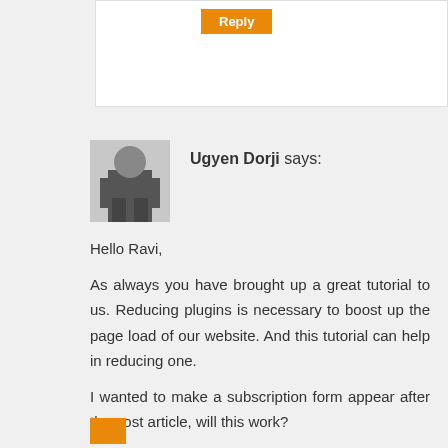[Figure (screenshot): Orange Reply button on a white card comment box at the top of the page]
Ugyen Dorji says:
Hello Ravi,

As always you have brought up a great tutorial to us. Reducing plugins is necessary to boost up the page load of our website. And this tutorial can help in reducing one.

I wanted to make a subscription form appear after the post article, will this work?

Thanks for your advice
[Figure (screenshot): Orange Reply button partially visible at the bottom of the page]